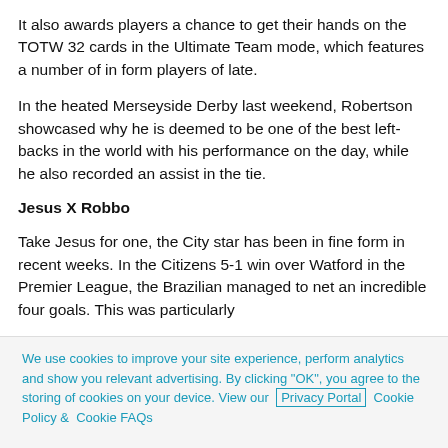It also awards players a chance to get their hands on the TOTW 32 cards in the Ultimate Team mode, which features a number of in form players of late.
In the heated Merseyside Derby last weekend, Robertson showcased why he is deemed to be one of the best left-backs in the world with his performance on the day, while he also recorded an assist in the tie.
Jesus X Robbo
Take Jesus for one, the City star has been in fine form in recent weeks. In the Citizens 5-1 win over Watford in the Premier League, the Brazilian managed to net an incredible four goals. This was particularly
We use cookies to improve your site experience, perform analytics and show you relevant advertising. By clicking "OK", you agree to the storing of cookies on your device. View our Privacy Portal Cookie Policy & Cookie FAQs